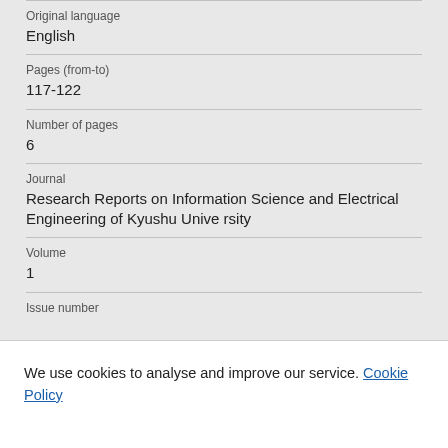Original language
English
Pages (from-to)
117-122
Number of pages
6
Journal
Research Reports on Information Science and Electrical Engineering of Kyushu University
Volume
1
Issue number (truncated)
We use cookies to analyse and improve our service. Cookie Policy